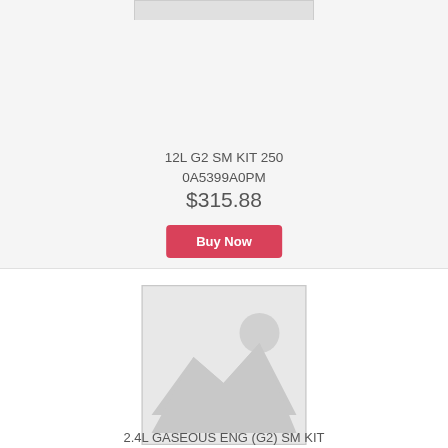[Figure (photo): Placeholder product image cropped at top of page]
12L G2 SM KIT 250
0A5399A0PM
$315.88
Buy Now
[Figure (photo): Placeholder product image with mountain and sun graphic]
2.4L GASEOUS ENG (G2) SM KIT